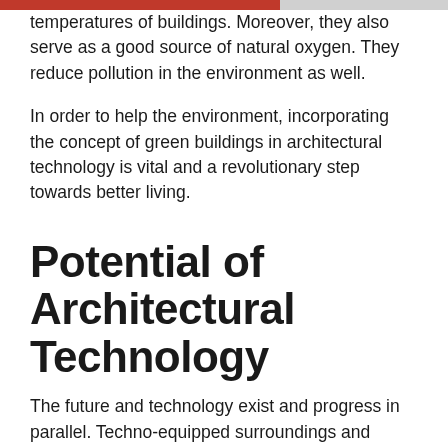temperatures of buildings. Moreover, they also serve as a good source of natural oxygen. They reduce pollution in the environment as well.
In order to help the environment, incorporating the concept of green buildings in architectural technology is vital and a revolutionary step towards better living.
Potential of Architectural Technology
The future and technology exist and progress in parallel. Techno-equipped surroundings and construction projects are helping humans build structures like never before. Modern projects